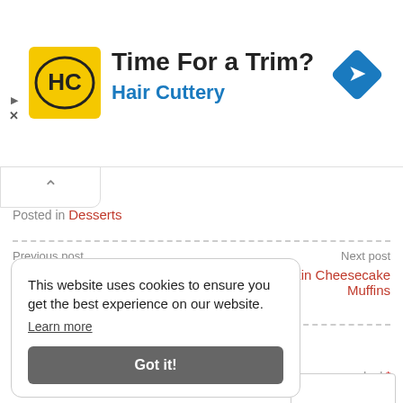[Figure (screenshot): Hair Cuttery ad banner with yellow HC logo, 'Time For a Trim?' headline, blue 'Hair Cuttery' subtext, and blue diamond arrow icon on the right]
Posted in Desserts
Previous post
Easy Pumpkin Cheesecake Balls
Next post
Easy Pumpkin Cheesecake Muffins
Leave a Reply
are marked *
This website uses cookies to ensure you get the best experience on our website.
Learn more
Got it!